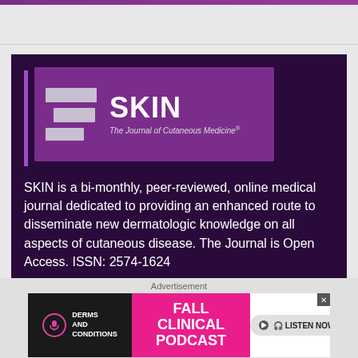[Figure (logo): SKIN - The Journal of Cutaneous Medicine logo on purple background]
SKIN is a bi-monthly, peer-reviewed, online medical journal dedicated to providing an enhanced route to disseminate new dermatologic knowledge on all aspects of cutaneous disease. The Journal is Open Access. ISSN: 2574-1624
IMPORTANT LINKS
[Figure (advertisement): Derms and Conditions Fall Clinical Podcast advertisement with Listen Now button]